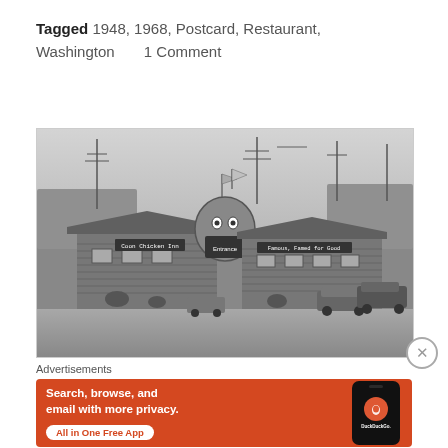Tagged 1948, 1968, Postcard, Restaurant, Washington     1 Comment
[Figure (photo): Black and white vintage photograph of Coon Chicken Inn restaurant, showing a log cabin style building with a large caricature head entrance, signage reading 'Coon Chicken Inn' and 'Famous, Famed for Good', flags on top, and vintage automobiles parked in front.]
Advertisements
[Figure (screenshot): DuckDuckGo advertisement banner with orange background. Text reads 'Search, browse, and email with more privacy. All in One Free App' with DuckDuckGo logo and phone mockup.]